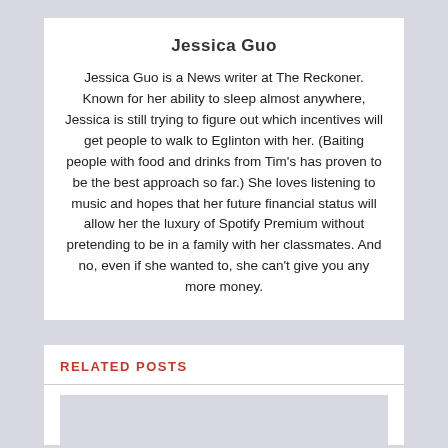Jessica Guo
Jessica Guo is a News writer at The Reckoner. Known for her ability to sleep almost anywhere, Jessica is still trying to figure out which incentives will get people to walk to Eglinton with her. (Baiting people with food and drinks from Tim's has proven to be the best approach so far.) She loves listening to music and hopes that her future financial status will allow her the luxury of Spotify Premium without pretending to be in a family with her classmates. And no, even if she wanted to, she can't give you any more money.
RELATED POSTS